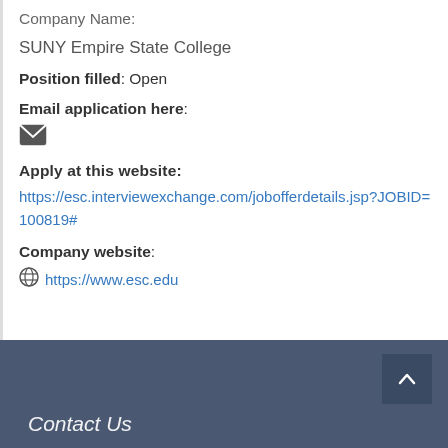Company Name:
SUNY Empire State College
Position filled: Open
Email application here:
[Figure (illustration): Email envelope icon (dark gray)]
Apply at this website:
https://esc.interviewexchange.com/jobofferdetails.jsp?JOBID=100819#
Company website:
https://www.esc.edu
Contact Us